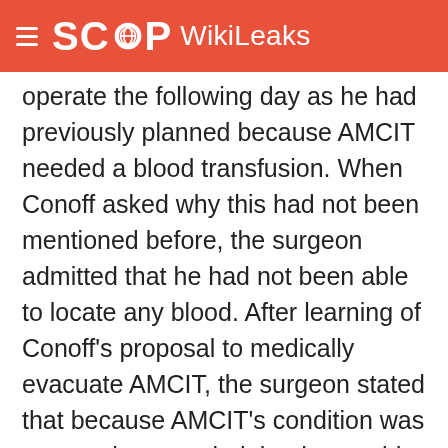SCOOP WikiLeaks
operate the following day as he had previously planned because AMCIT needed a blood transfusion. When Conoff asked why this had not been mentioned before, the surgeon admitted that he had not been able to locate any blood. After learning of Conoff's proposal to medically evacuate AMCIT, the surgeon stated that because AMCIT's condition was so poor he was glad that he would not be performing the surgery because he did not think there would be a good